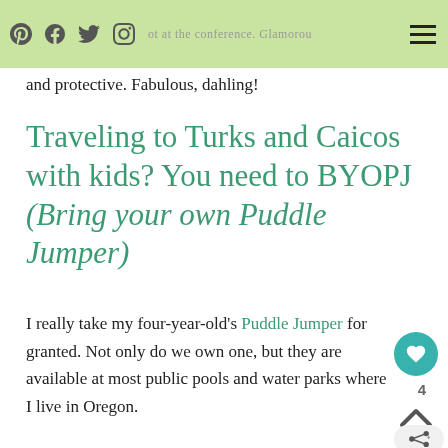Social media icons and navigation header with green background
and protective. Fabulous, dahling!
Traveling to Turks and Caicos with kids? You need to BYOPJ (Bring your own Puddle Jumper)
I really take my four-year-old's Puddle Jumper for granted. Not only do we own one, but they are available at most public pools and water parks where I live in Oregon.